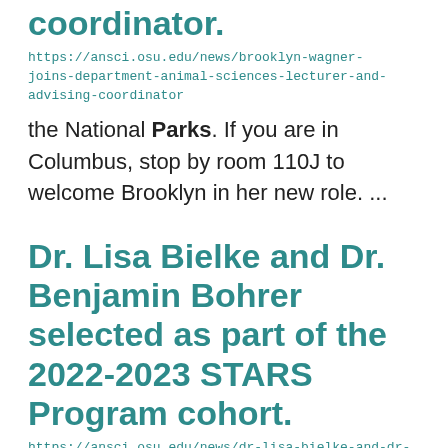coordinator.
https://ansci.osu.edu/news/brooklyn-wagner-joins-department-animal-sciences-lecturer-and-advising-coordinator
the National Parks. If you are in Columbus, stop by room 110J to welcome Brooklyn in her new role. ...
Dr. Lisa Bielke and Dr. Benjamin Bohrer selected as part of the 2022-2023 STARS Program cohort.
https://ansci.osu.edu/news/dr-lisa-bielke-and-dr-benjamin-bohrer-selected-part-2022-2023-stars-program-cohort
with the interest, vision, and motivation – to do their own work asumentori